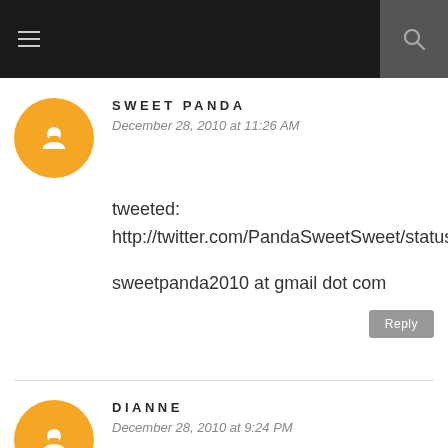SWEET PANDA
December 28, 2010 at 11:26 AM
tweeted: http://twitter.com/PandaSweetSweet/status/19791161644290048

sweetpanda2010 at gmail dot com
Reply
DIANNE
December 28, 2010 at 9:24 PM
Daily Tweet
http://twitter.com/wowcheckitout/s